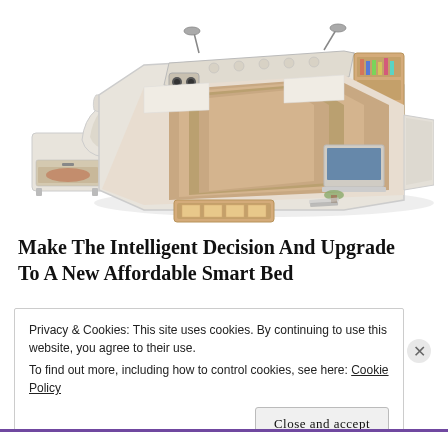[Figure (photo): A large luxury smart bed with multiple integrated features including speakers, storage drawers, reading lamps, massage chair, ottoman/footrest, shelving, and a laptop stand. The bed has cream/beige leather upholstery and wood accents. Various compartments are shown open to display storage.]
Make The Intelligent Decision And Upgrade To A New Affordable Smart Bed
Privacy & Cookies: This site uses cookies. By continuing to use this website, you agree to their use.
To find out more, including how to control cookies, see here: Cookie Policy
Close and accept